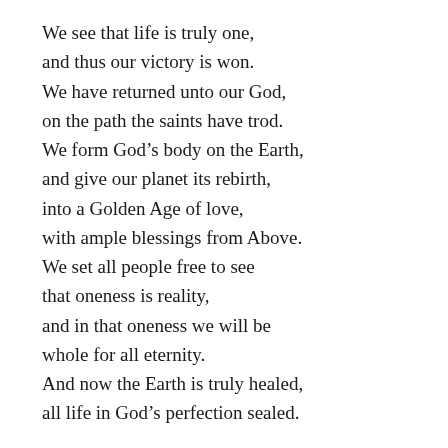We see that life is truly one,
and thus our victory is won.
We have returned unto our God,
on the path the saints have trod.
We form God’s body on the Earth,
and give our planet its rebirth,
into a Golden Age of love,
with ample blessings from Above.
We set all people free to see
that oneness is reality,
and in that oneness we will be
whole for all eternity.
And now the Earth is truly healed,
all life in God’s perfection sealed.
God is Father, God is Mother,
we see God in each other.
1. In the name of Master MORE, I say into the